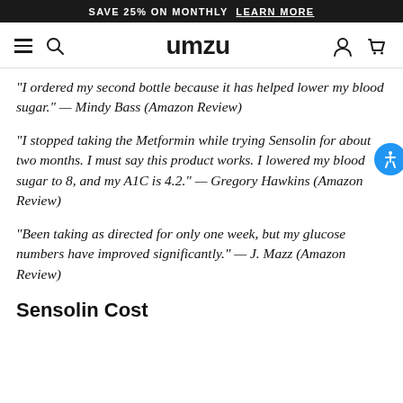SAVE 25% ON MONTHLY  LEARN MORE
umzu (navigation bar with menu, search, account, cart icons)
“I ordered my second bottle because it has helped lower my blood sugar.” — Mindy Bass (Amazon Review)
“I stopped taking the Metformin while trying Sensolin for about two months. I must say this product works. I lowered my blood sugar to 8, and my A1C is 4.2.” — Gregory Hawkins (Amazon Review)
“Been taking as directed for only one week, but my glucose numbers have improved significantly.” — J. Mazz (Amazon Review)
Sensolin Cost